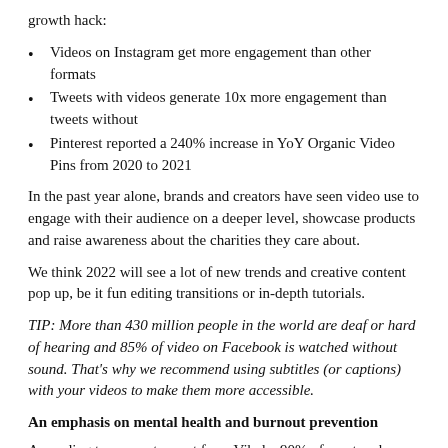growth hack:
Videos on Instagram get more engagement than other formats
Tweets with videos generate 10x more engagement than tweets without
Pinterest reported a 240% increase in YoY Organic Video Pins from 2020 to 2021
In the past year alone, brands and creators have seen video use to engage with their audience on a deeper level, showcase products and raise awareness about the charities they care about.
We think 2022 will see a lot of new trends and creative content pop up, be it fun editing transitions or in-depth tutorials.
TIP: More than 430 million people in the world are deaf or hard of hearing and 85% of video on Facebook is watched without sound. That's why we recommend using subtitles (or captions) with your videos to make them more accessible.
An emphasis on mental health and burnout prevention
According to a recent report from Vibely, 90% of creators have experienced burnout and 71% have considered quitting social